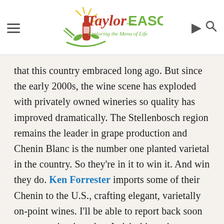Taylor Eason — Exploring the Menu of Life
that this country embraced long ago. But since the early 2000s, the wine scene has exploded with privately owned wineries so quality has improved dramatically. The Stellenbosch region remains the leader in grape production and Chenin Blanc is the number one planted varietal in the country. So they're in it to win it. And win they do. Ken Forrester imports some of their Chenin to the U.S., crafting elegant, varietally on-point wines. I'll be able to report back soon on more wineries when I visit this spring.
The personality of different Chenin Blanc wines can